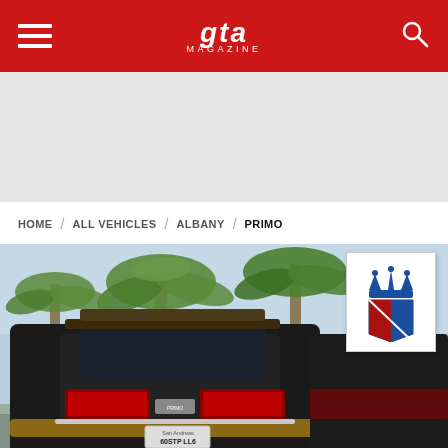GTA Magazine
[Figure (screenshot): Gray advertisement banner placeholder area]
HOME / ALL VEHICLES / ALBANY / PRIMO
[Figure (photo): Rear view of a dark Albany Primo car with license plate 60STP LL6, palm trees and blue sky in background, Albany brand logo overlay in top right corner]